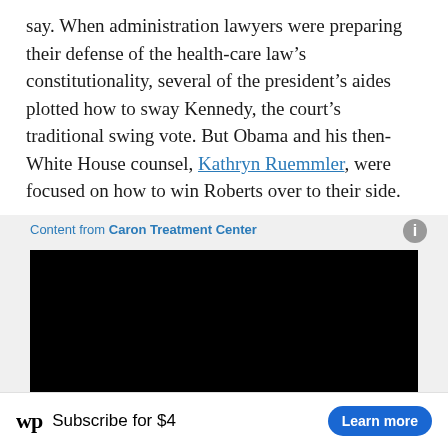say. When administration lawyers were preparing their defense of the health-care law’s constitutionality, several of the president’s aides plotted how to sway Kennedy, the court’s traditional swing vote. But Obama and his then-White House counsel, Kathryn Ruemmler, were focused on how to win Roberts over to their side.
Content from Caron Treatment Center
[Figure (other): Black video player embed area associated with Caron Treatment Center sponsored content]
wp Subscribe for $4 Learn more